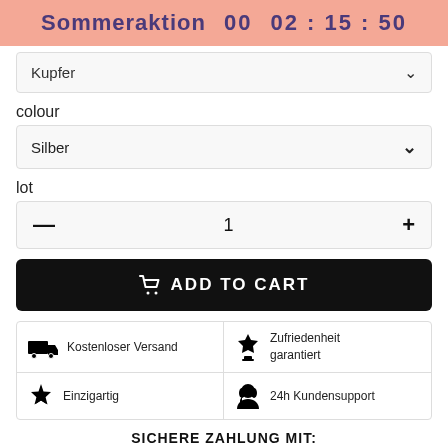Sommeraktion   00   02 : 15 : 50
Kupfer
colour
Silber
lot
— 1 +
ADD TO CART
Kostenloser Versand
Zufriedenheit garantiert
Einzigartig
24h Kundensupport
SICHERE ZAHLUNG MIT: